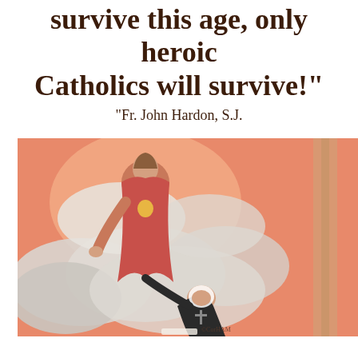survive this age, only heroic Catholics will survive!"
"Fr. John Hardon, S.J.
[Figure (illustration): Religious illustration showing Jesus Christ in red robes standing on clouds with sacred heart visible, reaching down toward a nun in black habit who is kneeling/prostrating. Architectural columns visible in background. Salmon/coral background. Copyright mark 'CorHAM'.]
"Twelve Promises of the Sacred